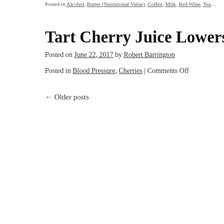Posted in Alcohol, Butter (Nutrutional Value), Coffee, Milk, Red Wine, Tea…
Tart Cherry Juice Lowers Blood Pressure
Posted on June 22, 2017 by Robert Barrington
Posted in Blood Pressure, Cherries | Comments Off
← Older posts